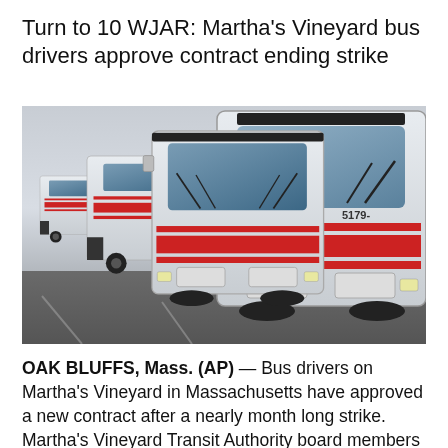Turn to 10 WJAR: Martha's Vineyard bus drivers approve contract ending strike
[Figure (photo): A row of white and red transit buses parked in a lot, viewed from a front-angle perspective. The nearest bus shows number 5179 on its side.]
OAK BLUFFS, Mass. (AP) — Bus drivers on Martha's Vineyard in Massachusetts have approved a new contract after a nearly month long strike.
Martha's Vineyard Transit Authority board members the...